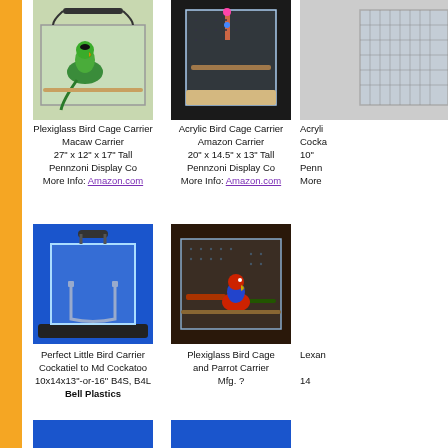[Figure (photo): Green parrot in clear plexiglass cage carrier]
Plexiglass Bird Cage Carrier
Macaw Carrier
27" x 12" x 17" Tall
Pennzoni Display Co
More Info: Amazon.com
[Figure (photo): Acrylic bird cage carrier with perch and bird toy on black background]
Acrylic Bird Cage Carrier
Amazon Carrier
20" x 14.5" x 13" Tall
Pennzoni Display Co
More Info: Amazon.com
[Figure (photo): Partial right-side image of acrylic carrier]
Acryli
Cocka
10"
Penn
More
[Figure (photo): Clear acrylic bird carrier with black handle and base on blue background]
Perfect Little Bird Carrier
Cockatiel to Md Cockatoo
10x14x13"-or-16" B4S, B4L
Bell Plastics
[Figure (photo): Plexiglass bird cage with red parrot inside on wooden perch, dark background]
Plexiglass Bird Cage
and Parrot Carrier
Mfg. ?
Lexan

14